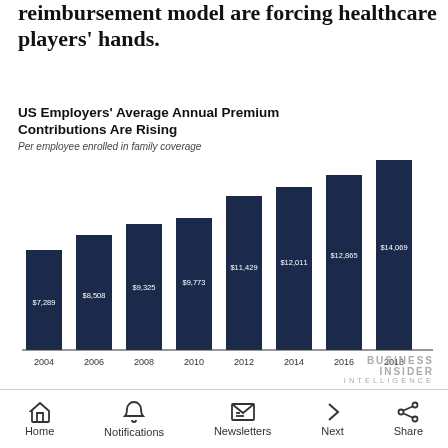reimbursement model are forcing healthcare players' hands.
[Figure (bar-chart): US Employers' Average Annual Premium Contributions Are Rising]
Source: Kaiser Family Foundation, 2018
Home  Notifications  Newsletters  Next  Share